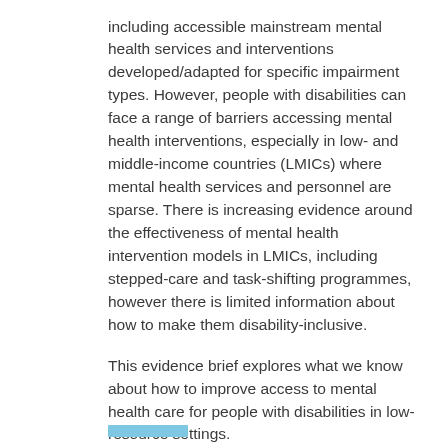including accessible mainstream mental health services and interventions developed/adapted for specific impairment types. However, people with disabilities can face a range of barriers accessing mental health interventions, especially in low- and middle-income countries (LMICs) where mental health services and personnel are sparse. There is increasing evidence around the effectiveness of mental health intervention models in LMICs, including stepped-care and task-shifting programmes, however there is limited information about how to make them disability-inclusive.
This evidence brief explores what we know about how to improve access to mental health care for people with disabilities in low-resource settings.